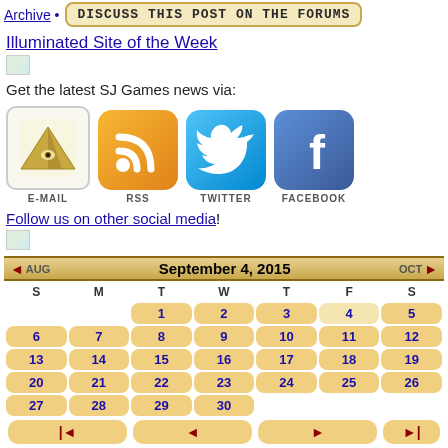Archive • DISCUSS THIS POST ON THE FORUMS
Illuminated Site of the Week
Get the latest SJ Games news via:
[Figure (infographic): Four social media icons: E-MAIL (pyramid/illuminati logo), RSS (orange RSS icon), TWITTER (blue bird icon), FACEBOOK (blue f icon)]
Follow us on other social media!
[Figure (other): Small image placeholder]
September 4, 2015 calendar with navigation arrows and AUG/OCT month links. Days 1-30 shown in golden rounded buttons, navigation buttons at bottom.